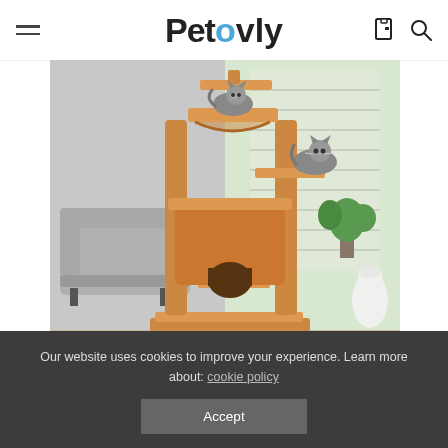Petovly
[Figure (photo): A tall narrow cat tree with brown plush covering. Two gray cats are on the structure — one lounging on a hammock near the top, another sitting on a lower platform. The cat tree has multiple levels, a condo/house, sisal poles, and a wide base. The background shows a living room with a gray sofa and window with blinds.]
The Setup
This tall narrow cat tree needs to be assembled. The assembly is simple
Our website uses cookies to improve your experience. Learn more about: cookie policy
Accept